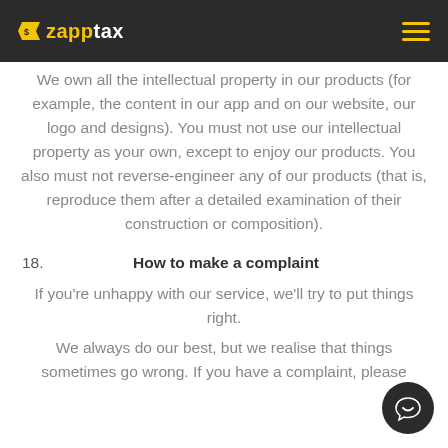zapptax
We own all the intellectual property in our products (for example, the content in our app and on our website, our logo and designs). You must not use our intellectual property as your own, except to enjoy our products. You also must not reverse-engineer any of our products (that is, reproduce them after a detailed examination of their construction or composition).
18. How to make a complaint
If you're unhappy with our service, we'll try to put things right.
We always do our best, but we realise that things sometimes go wrong. If you have a complaint, please